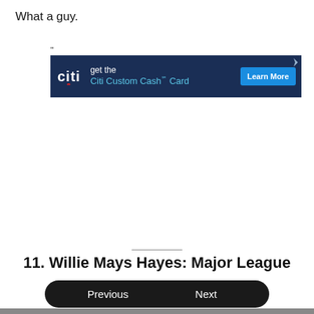What a guy.
”
[Figure (screenshot): Citi bank advertisement banner: dark navy background with Citi logo on the left, text 'get the Citi Custom Cash℠ Card' in white and light blue, and a cyan 'Learn More' button on the right.]
11. Willie Mays Hayes: Major League
Previous
Next